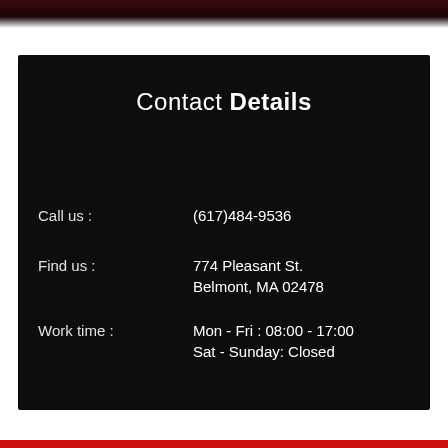Contact Details
Call us : (617)484-9536
Find us : 774 Pleasant St. Belmont, MA 02478
Work time : Mon - Fri : 08:00 - 17:00 Sat - Sunday: Closed